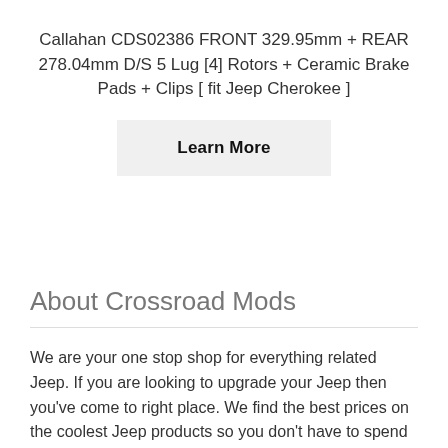Callahan CDS02386 FRONT 329.95mm + REAR 278.04mm D/S 5 Lug [4] Rotors + Ceramic Brake Pads + Clips [ fit Jeep Cherokee ]
[Figure (other): A button labeled 'Learn More' with a light gray background]
About Crossroad Mods
We are your one stop shop for everything related Jeep. If you are looking to upgrade your Jeep then you've come to right place. We find the best prices on the coolest Jeep products so you don't have to spend time searching all over the web for the right Jeep parts. Not only do we carry Jeep parts, but we also have a large selection of Jeep accessories like clothing, decals, tire covers, and much